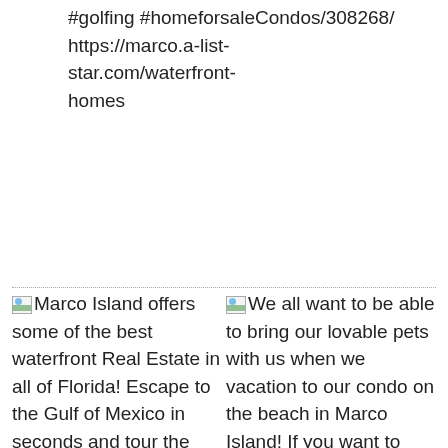#golfing #homeforsaleCondos/308268/ https://marco.a-list-star.com/waterfront-homes
Marco Island offers some of the best waterfront Real Estate in all of Florida! Escape to the Gulf of Mexico in seconds and tour the Florida Keys or Naples. Take a look at what we have to offer before it is too late. No time like the present to have the getaway you
We all want to be able to bring our lovable pets with us when we vacation to our condo on the beach in Marco Island! If you want to see what Pet-Friendly Condos we have on the island, just use the link below. 🐾 🐾 😺 🐾 #petfriendly #condosforsale